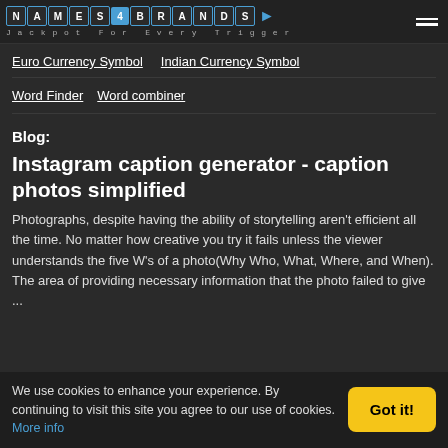NAMES4BRANDS - Jackpot For Every Trigger
Euro Currency Symbol   Indian Currency Symbol
Word Finder   Word combiner
Blog:
Instagram caption generator - caption photos simplified
Photographs, despite having the ability of storytelling aren't efficient all the time. No matter how creative you try it fails unless the viewer understands the five W's of a photo(Why Who, What, Where, and When). The area of providing necessary information that the photo failed to give ...
We use cookies to enhance your experience. By continuing to visit this site you agree to our use of cookies. More info